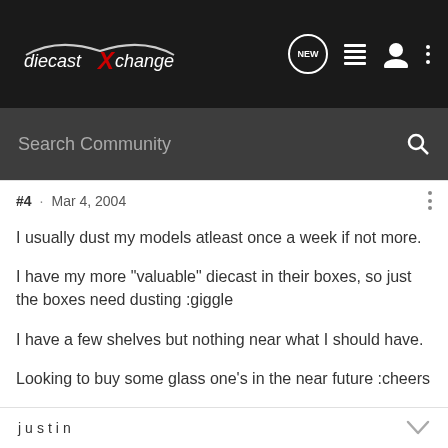diecastXchange
Search Community
#4 · Mar 4, 2004
I usually dust my models atleast once a week if not more.

I have my more "valuable" diecast in their boxes, so just the boxes need dusting :giggle

I have a few shelves but nothing near what I should have.

Looking to buy some glass one's in the near future :cheers
justin